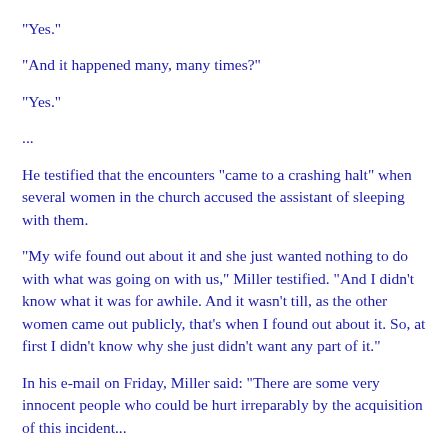"Yes."
"And it happened many, many times?"
"Yes."
...
He testified that the encounters "came to a crashing halt" when several women in the church accused the assistant of sleeping with them.
"My wife found out about it and she just wanted nothing to do with what was going on with us," Miller testified. "And I didn't know what it was for awhile. And it wasn't till, as the other women came out publicly, that's when I found out about it. So, at first I didn't know why she just didn't want any part of it."
In his e-mail on Friday, Miller said: "There are some very innocent people who could be hurt irreparably by the acquisition of this incident...